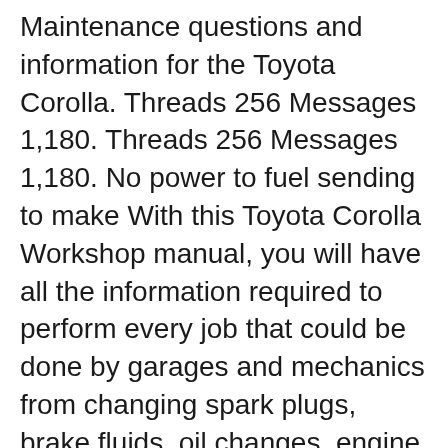Maintenance questions and information for the Toyota Corolla. Threads 256 Messages 1,180. Threads 256 Messages 1,180. No power to fuel sending to make With this Toyota Corolla Workshop manual, you will have all the information required to perform every job that could be done by garages and mechanics from changing spark plugs, brake fluids, oil changes, engine rebuilds, electrical faults and much more based on the contents of this specific PDF document 2001 Toyota Corolla Owners Manual PDF.
Mar 09, 2015B B· 2001 Toyota Corolla Owners Manual [Toyota] on Amazon.com. *FREE* shipping on